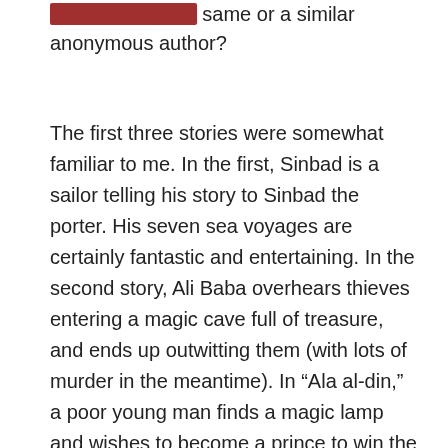be written by the same or a similar anonymous author?
The first three stories were somewhat familiar to me. In the first, Sinbad is a sailor telling his story to Sinbad the porter. His seven sea voyages are certainly fantastic and entertaining. In the second story, Ali Baba overhears thieves entering a magic cave full of treasure, and ends up outwitting them (with lots of murder in the meantime). In “Ala al-din,” a poor young man finds a magic lamp and wishes to become a prince to win the princess’s hand, while a wicked magician attempts to steal the lamp back from Aladdin.